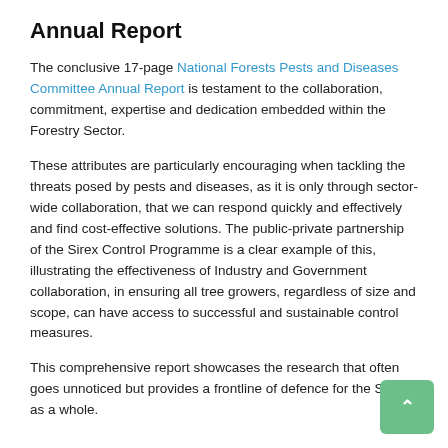Annual Report
The conclusive 17-page National Forests Pests and Diseases Committee Annual Report is testament to the collaboration, commitment, expertise and dedication embedded within the Forestry Sector.
These attributes are particularly encouraging when tackling the threats posed by pests and diseases, as it is only through sector-wide collaboration, that we can respond quickly and effectively and find cost-effective solutions. The public-private partnership of the Sirex Control Programme is a clear example of this, illustrating the effectiveness of Industry and Government collaboration, in ensuring all tree growers, regardless of size and scope, can have access to successful and sustainable control measures.
This comprehensive report showcases the research that often goes unnoticed but provides a frontline of defence for the Sector as a whole.